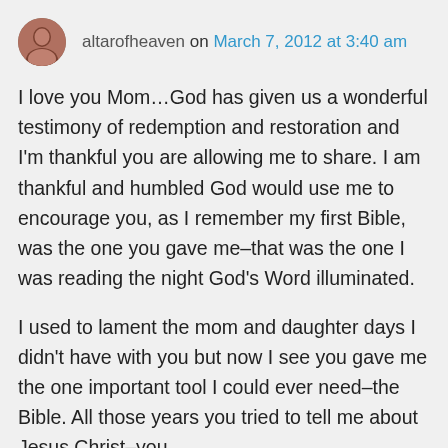altarofheaven on March 7, 2012 at 3:40 am
I love you Mom…God has given us a wonderful testimony of redemption and restoration and I'm thankful you are allowing me to share. I am thankful and humbled God would use me to encourage you, as I remember my first Bible, was the one you gave me–that was the one I was reading the night God's Word illuminated.
I used to lament the mom and daughter days I didn't have with you but now I see you gave me the one important tool I could ever need–the Bible. All those years you tried to tell me about Jesus Christ–you